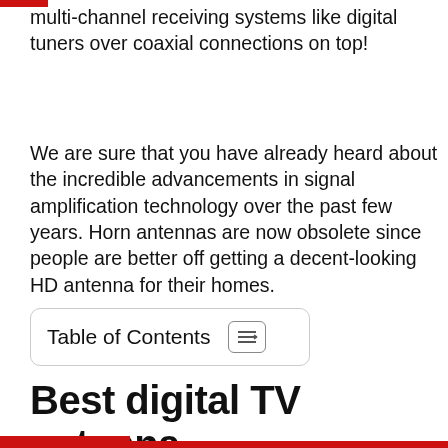multi-channel receiving systems like digital tuners over coaxial connections on top!
We are sure that you have already heard about the incredible advancements in signal amplification technology over the past few years. Horn antennas are now obsolete since people are better off getting a decent-looking HD antenna for their homes.
Table of Contents
Best digital TV antenna